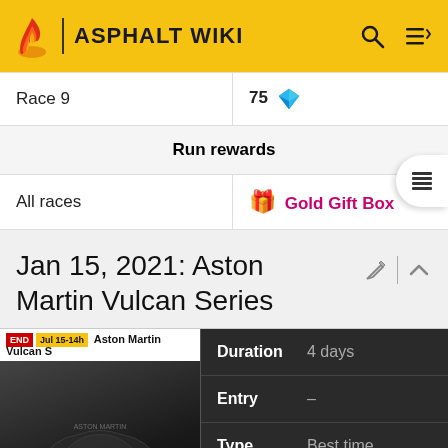ASPHALT WIKI
|  |  |
| --- | --- |
| Race 9 | 75 💎 |
| Run rewards |  |
| All races | 🎁 Gold Gift Box |
Jan 15, 2021: Aston Martin Vulcan Series
|  | Duration | 4 days |
| --- | --- | --- |
| [car image] | Entry | – |
|  | Type | Best time |
| Status | ● Expired |  |
| Track |  |  |